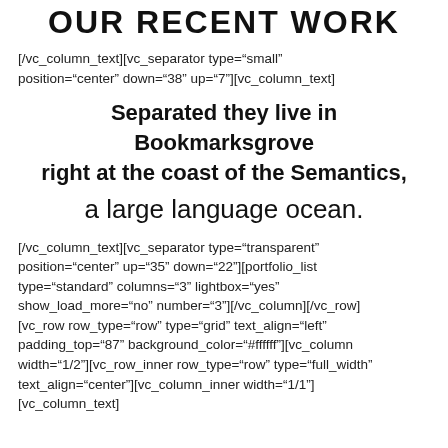OUR RECENT WORK
[/vc_column_text][vc_separator type="small" position="center" down="38" up="7"][vc_column_text]
Separated they live in Bookmarksgrove right at the coast of the Semantics,
a large language ocean.
[/vc_column_text][vc_separator type="transparent" position="center" up="35" down="22"][portfolio_list type="standard" columns="3" lightbox="yes" show_load_more="no" number="3"][/vc_column][/vc_row][vc_row row_type="row" type="grid" text_align="left" padding_top="87" background_color="#ffffff"][vc_column width="1/2"][vc_row_inner row_type="row" type="full_width" text_align="center"][vc_column_inner width="1/1"] [vc_column_text]